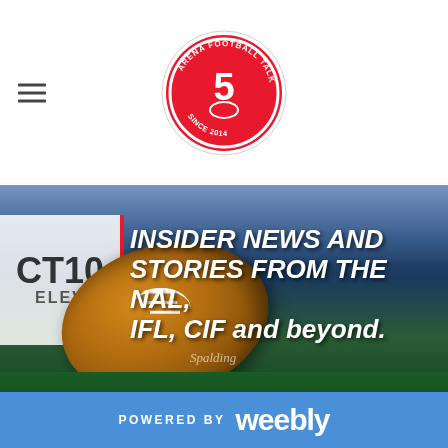Arena Football Talk — Since 2014 (logo)
[Figure (photo): Arena football on green turf inside an indoor stadium with stadium lights and seating in background. Text overlay reads: INSIDER NEWS AND STORIES FROM THE NAL, IFL, CIF and beyond.]
Revolution Lose in
POWERED BY weebly